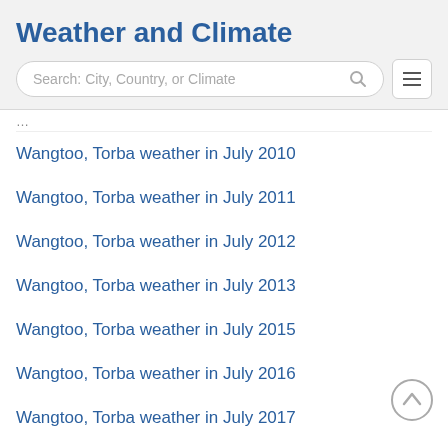Weather and Climate
[Figure (other): Search bar with placeholder 'Search: City, Country, or Climate' and a hamburger menu button]
Wangtoo, Torba weather in July 2010
Wangtoo, Torba weather in July 2011
Wangtoo, Torba weather in July 2012
Wangtoo, Torba weather in July 2013
Wangtoo, Torba weather in July 2015
Wangtoo, Torba weather in July 2016
Wangtoo, Torba weather in July 2017
Wangtoo, Torba weather in July 2018
Wangtoo, Torba weather in July 2019